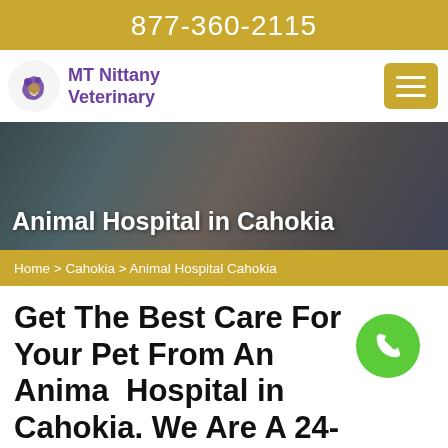877-360-2115
[Figure (logo): MT Nittany Veterinary logo with purple animal icon and text]
[Figure (photo): Hero banner photo of veterinary staff examining a golden dog, with stethoscope visible]
Animal Hospital in Cahokia
Home > Cahokia > Animal Hospital Cahokia
Get The Best Care For Your Pet From An Animal Hospital in Cahokia. We Are A 24-hour Pet Animal Hospital Near You That Gives All Creatures
[Figure (other): Green circular phone FAB button]